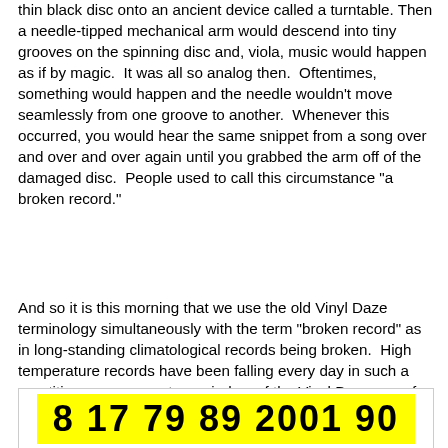thin black disc onto an ancient device called a turntable. Then a needle-tipped mechanical arm would descend into tiny grooves on the spinning disc and, viola, music would happen as if by magic.  It was all so analog then.  Oftentimes, something would happen and the needle wouldn't move seamlessly from one groove to another.  Whenever this occurred, you would hear the same snippet from a song over and over and over again until you grabbed the arm off of the damaged disc.  People used to call this circumstance "a broken record."
And so it is this morning that we use the old Vinyl Daze terminology simultaneously with the term "broken record" as in long-standing climatological records being broken.  High temperature records have been falling every day in such a repetitious manner as to remind us of the Vinyl Daze use of the term.  They are being broken over and over and over and, unfortunately, there's no arm we can grab to put an end to this refrain.  Take a look at the graphic below that we prepared this morning.
[Figure (other): Yellow highlighted box displaying numbers: 8 17 79 89 2001 90]